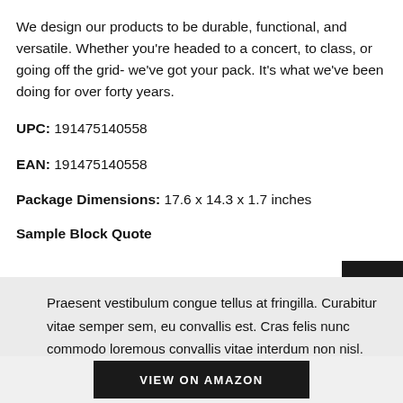We design our products to be durable, functional, and versatile. Whether you're headed to a concert, to class, or going off the grid- we've got your pack. It's what we've been doing for over forty years.
UPC: 191475140558
EAN: 191475140558
Package Dimensions: 17.6 x 14.3 x 1.7 inches
Sample Block Quote
Praesent vestibulum congue tellus at fringilla. Curabitur vitae semper sem, eu convallis est. Cras felis nunc commodo loremous convallis vitae interdum non nisl. Maecenas ac est sit amet auque pharetra convallis nec danos.
VIEW ON AMAZON